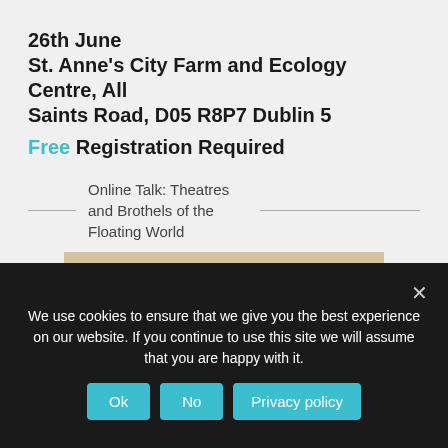26th June
St. Anne's City Farm and Ecology Centre, All Saints Road, D05 R8P7 Dublin 5
Free Registration Required
Online Talk: Theatres and Brothels of the Floating World
[Figure (photo): Japanese woodblock print showing a scene with figures in a traditional interior setting]
We use cookies to ensure that we give you the best experience on our website. If you continue to use this site we will assume that you are happy with it.